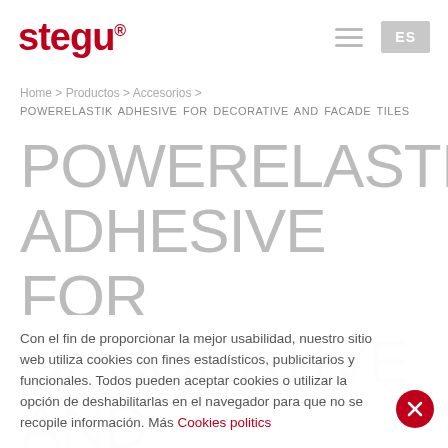stegu ES
Home > Productos > Accesorios > POWERELASTIK ADHESIVE FOR DECORATIVE AND FACADE TILES
POWERELASTIK ADHESIVE FOR DECORATIVE AND
Con el fin de proporcionar la mejor usabilidad, nuestro sitio web utiliza cookies con fines estadísticos, publicitarios y funcionales. Todos pueden aceptar cookies o utilizar la opción de deshabilitarlas en el navegador para que no se recopile información. Más Cookies politics